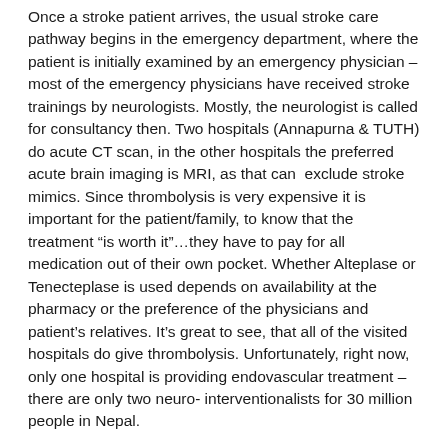Once a stroke patient arrives, the usual stroke care pathway begins in the emergency department, where the patient is initially examined by an emergency physician – most of the emergency physicians have received stroke trainings by neurologists. Mostly, the neurologist is called for consultancy then. Two hospitals (Annapurna & TUTH) do acute CT scan, in the other hospitals the preferred acute brain imaging is MRI, as that can  exclude stroke mimics. Since thrombolysis is very expensive it is important for the patient/family, to know that the treatment “is worth it”…they have to pay for all medication out of their own pocket. Whether Alteplase or Tenecteplase is used depends on availability at the pharmacy or the preference of the physicians and patient’s relatives. It’s great to see, that all of the visited hospitals do give thrombolysis. Unfortunately, right now, only one hospital is providing endovascular treatment – there are only two neuro- interventionalists for 30 million people in Nepal.
An acute stroke patient (especially after recanalization) is